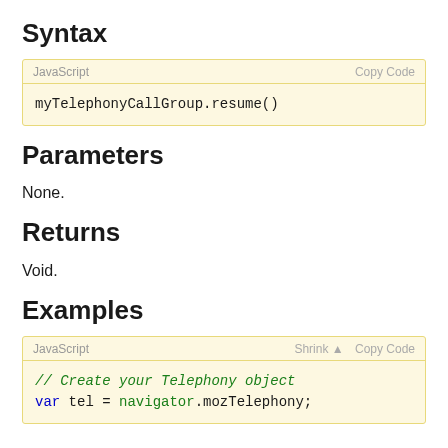Syntax
myTelephonyCallGroup.resume()
Parameters
None.
Returns
Void.
Examples
// Create your Telephony object
var tel = navigator.mozTelephony;